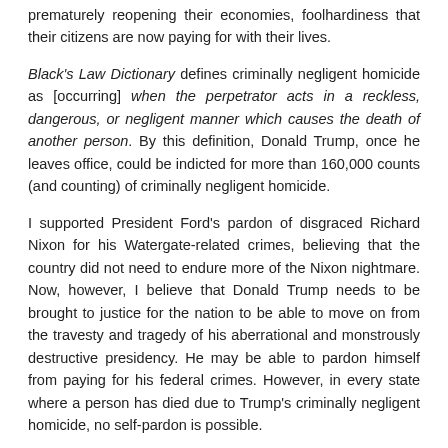prematurely reopening their economies, foolhardiness that their citizens are now paying for with their lives.
Black's Law Dictionary defines criminally negligent homicide as [occurring] when the perpetrator acts in a reckless, dangerous, or negligent manner which causes the death of another person. By this definition, Donald Trump, once he leaves office, could be indicted for more than 160,000 counts (and counting) of criminally negligent homicide.
I supported President Ford's pardon of disgraced Richard Nixon for his Watergate-related crimes, believing that the country did not need to endure more of the Nixon nightmare. Now, however, I believe that Donald Trump needs to be brought to justice for the nation to be able to move on from the travesty and tragedy of his aberrational and monstrously destructive presidency. He may be able to pardon himself from paying for his federal crimes. However, in every state where a person has died due to Trump's criminally negligent homicide, no self-pardon is possible.
In closing, I need to apologize for a statistical error I made several weeks ago. I wrote that Donald Trump was responsible